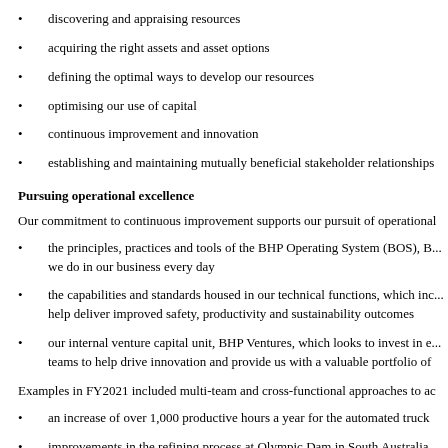discovering and appraising resources
acquiring the right assets and asset options
defining the optimal ways to develop our resources
optimising our use of capital
continuous improvement and innovation
establishing and maintaining mutually beneficial stakeholder relationships
Pursuing operational excellence
Our commitment to continuous improvement supports our pursuit of operational
the principles, practices and tools of the BHP Operating System (BOS), B... we do in our business every day
the capabilities and standards housed in our technical functions, which inc... help deliver improved safety, productivity and sustainability outcomes
our internal venture capital unit, BHP Ventures, which looks to invest in e... teams to help drive innovation and provide us with a valuable portfolio of
Examples in FY2021 included multi-team and cross-functional approaches to ac
an increase of over 1,000 productive hours a year for the automated truck
improvements in the refining process at Olympic Dam in South Australia m... cent above the budgeted target for FY2021 and a record for scrap copper r